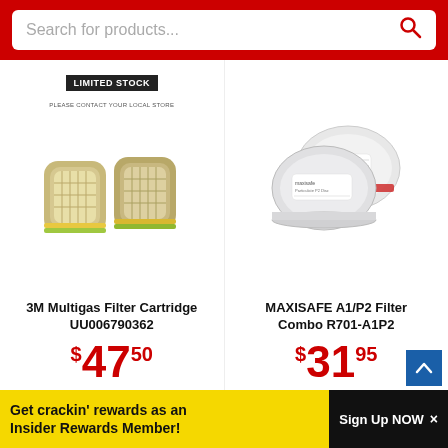Search for products...
[Figure (photo): 3M Multigas Filter Cartridge product photo showing two tan/yellow respirator cartridges side by side with a LIMITED STOCK badge above]
3M Multigas Filter Cartridge UU006790362
$47.50
[Figure (photo): Maxisafe A1/P2 Filter Combo product photo showing two round white respirator filter cartridges]
MAXISAFE A1/P2 Filter Combo R701-A1P2
$31.95
Get crackin' rewards as an Insider Rewards Member!
Sign Up NOW ×